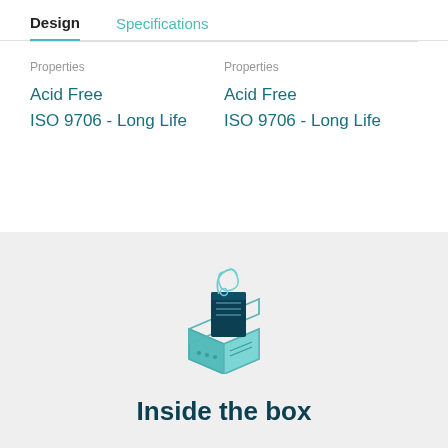Design
Specifications
Properties
Acid Free
ISO 9706 - Long Life
Properties
Acid Free
ISO 9706 - Long Life
[Figure (illustration): Open box with a notebook/document inside — product packaging illustration in teal/dark teal line art style]
Inside the box